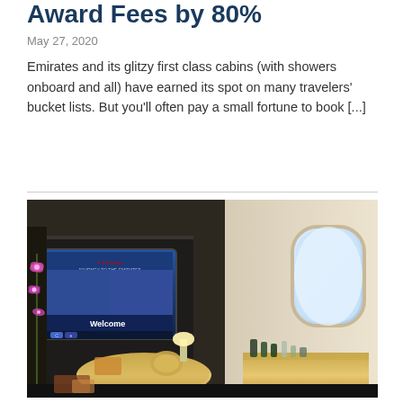Award Fees by 80%
May 27, 2020
Emirates and its glitzy first class cabins (with showers onboard and all) have earned its spot on many travelers' bucket lists. But you'll often pay a small fortune to book [...]
[Figure (photo): Interior of Emirates first class cabin showing a private suite with a large entertainment screen displaying 'Welcome', orchid flower arrangement, small table lamp, gold-accented tray table, amenity items, and an aircraft window with natural light visible.]